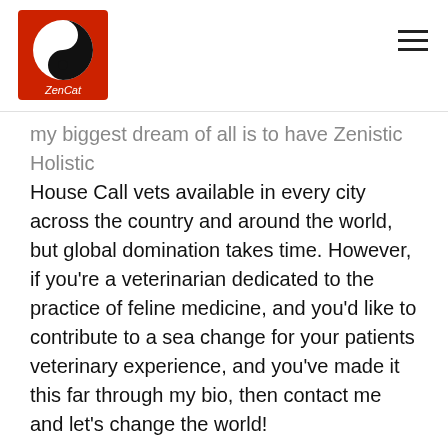ZenCat [logo with navigation hamburger menu]
my biggest dream of all is to have Zenistic Holistic House Call vets available in every city across the country and around the world, but global domination takes time. However, if you're a veterinarian dedicated to the practice of feline medicine, and you'd like to contribute to a sea change for your patients veterinary experience, and you've made it this far through my bio, then contact me and let's change the world!
If my healing philosophies are what you'd like to see for your precious kitty/kitties, please take a few minutes to complete my New Patient History Form and COVID form. I will contact you to set up an